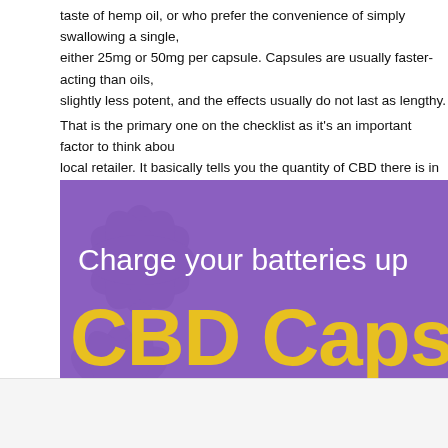taste of hemp oil, or who prefer the convenience of simply swallowing a single, either 25mg or 50mg per capsule. Capsules are usually faster-acting than oils, slightly less potent, and the effects usually do not last as lengthy.
That is the primary one on the checklist as it's an important factor to think about local retailer. It basically tells you the quantity of CBD there is in your oil and bo MedTerra focuses on selectively breeding different strains of hemp having exce
[Figure (infographic): Purple banner advertisement for CBD Capsules. Text reads 'Charge your batteries up' in white, 'CBD Capsul' in large bold yellow text (partially cut off), 'Bestseller' in white, with a 'Natural product 100%' circular badge and a gold horizontal rule at the bottom. Background is purple with hemp leaf watermark design.]
webs
Organic CBD help to